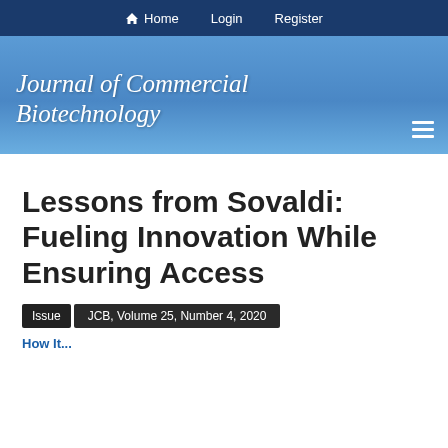Home  Login  Register
Journal of Commercial Biotechnology
Lessons from Sovaldi: Fueling Innovation While Ensuring Access
Issue   JCB, Volume 25, Number 4, 2020
How It...